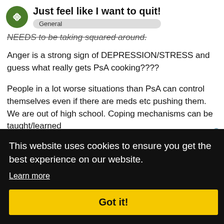Just feel like I want to quit! — General
NEEDS to be taking squared around.
Anger is a strong sign of DEPRESSION/STRESS and guess what really gets PsA cooking????
People in a lot worse situations than PsA can control themselves even if there are meds etc pushing them. We are out of high school. Coping mechanisms can be taught/learned
This website uses cookies to ensure you get the best experience on our website.
Learn more
Got it!